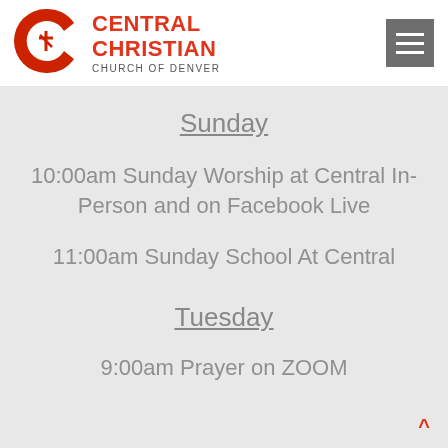[Figure (logo): Central Christian Church of Denver logo: red C with cross, text 'CENTRAL CHRISTIAN CHURCH OF DENVER' in red/orange]
Sunday
10:00am  Sunday Worship at Central In-Person and on Facebook Live
11:00am Sunday School At Central
Tuesday
9:00am Prayer on ZOOM